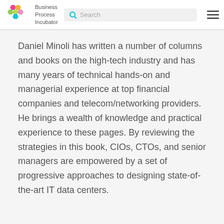Business Process Incubator
Daniel Minoli has written a number of columns and books on the high-tech industry and has many years of technical hands-on and managerial experience at top financial companies and telecom/networking providers. He brings a wealth of knowledge and practical experience to these pages. By reviewing the strategies in this book, CIOs, CTOs, and senior managers are empowered by a set of progressive approaches to designing state-of-the-art IT data centers.